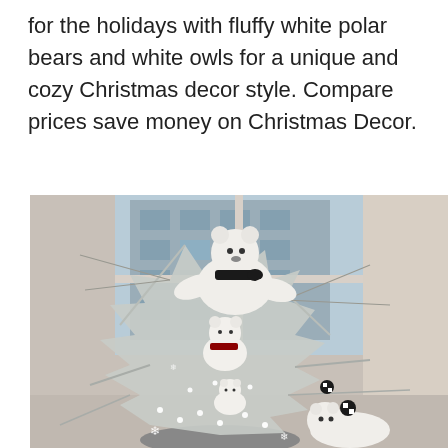for the holidays with fluffy white polar bears and white owls for a unique and cozy Christmas decor style. Compare prices save money on Christmas Decor.
[Figure (photo): A decorated white/silver Christmas tree adorned with white fluffy polar bear stuffed animals, small snowflake ornaments, black and white checkered decorations, and white lights. The tree is positioned in front of a large window with a city building visible outside. Multiple polar bear plush toys of various sizes are nestled among the tree branches.]